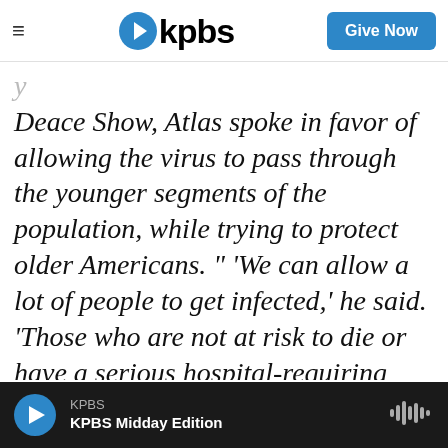≡  kpbs  Give Now
Deace Show, Atlas spoke in favor of allowing the virus to pass through the younger segments of the population, while trying to protect older Americans. " 'We can allow a lot of people to get infected,' he said. 'Those who are not at risk to die or have a serious hospital-requiring illness, we should be fine with letting them get infected, generating immunity on their own, and the more
KPBS  KPBS Midday Edition